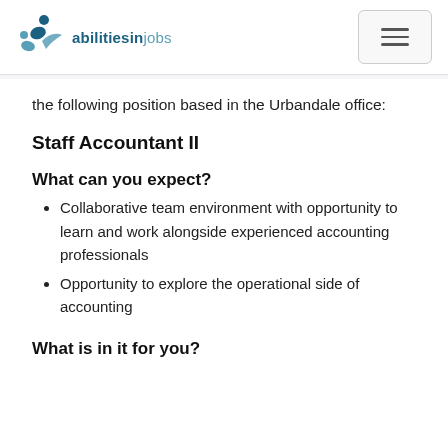abilitiesinjobs
the following position based in the Urbandale office:
Staff Accountant II
What can you expect?
Collaborative team environment with opportunity to learn and work alongside experienced accounting professionals
Opportunity to explore the operational side of accounting
What is in it for you?